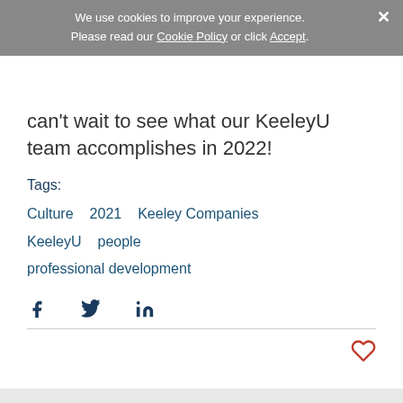We use cookies to improve your experience. Please read our Cookie Policy or click Accept.
can't wait to see what our KeeleyU team accomplishes in 2022!
Tags:
Culture   2021   Keeley Companies
KeeleyU   people
professional development
[Figure (other): Social share icons: Facebook, Twitter, LinkedIn]
[Figure (other): Heart/like icon in red outline]